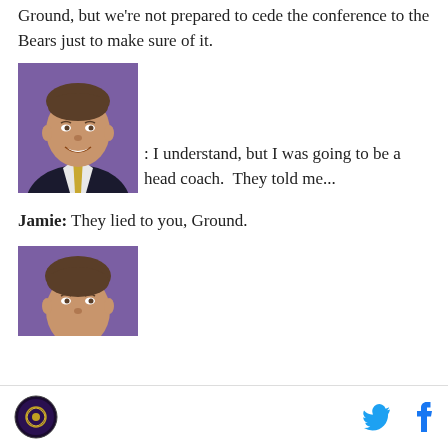Ground, but we're not prepared to cede the conference to the Bears just to make sure of it.
[Figure (photo): Headshot of a smiling man in a dark suit with a gold tie, purple background]
: I understand, but I was going to be a head coach.  They told me...
Jamie: They lied to you, Ground.
[Figure (photo): Headshot of a man with short hair, purple background, cropped at chin level]